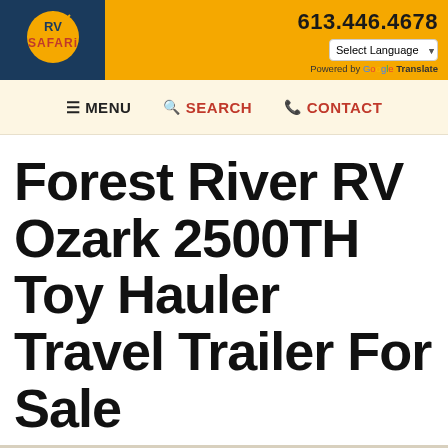613.446.4678 | Select Language | Powered by Google Translate
≡ MENU   🔍 SEARCH   📞 CONTACT
Forest River RV Ozark 2500TH Toy Hauler Travel Trailer For Sale